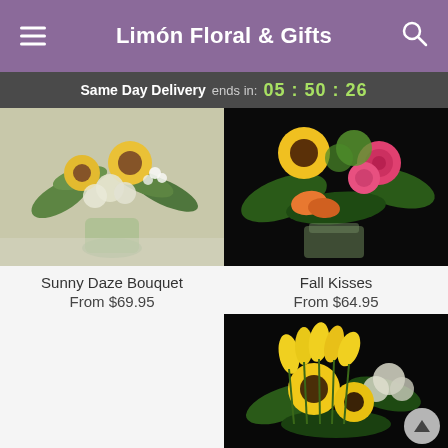Limón Floral & Gifts
Same Day Delivery ends in: 05 : 50 : 26
[Figure (photo): Sunny Daze Bouquet - floral arrangement with sunflowers, white hydrangeas and greenery in a glass vase on a light background]
Sunny Daze Bouquet
From $69.95
[Figure (photo): Fall Kisses - floral arrangement with sunflowers, pink roses, orange alstroemeria in a glass vase on a black background]
Fall Kisses
From $64.95
[Figure (photo): Floral arrangement with yellow tulips, sunflowers, white flowers on a black background - partially visible]